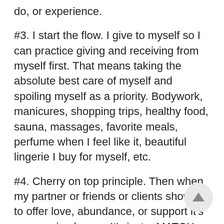do, or experience.
#3. I start the flow. I give to myself so I can practice giving and receiving from myself first. That means taking the absolute best care of myself and spoiling myself as a priority. Bodywork, manicures, shopping trips, healthy food, sauna, massages, favorite meals, perfume when I feel like it, beautiful lingerie I buy for myself, etc.
#4. Cherry on top principle. Then when my partner or friends or clients show up to offer love, abundance, or support it's an amazing bonus. It's just a MATCH for the level of generosity